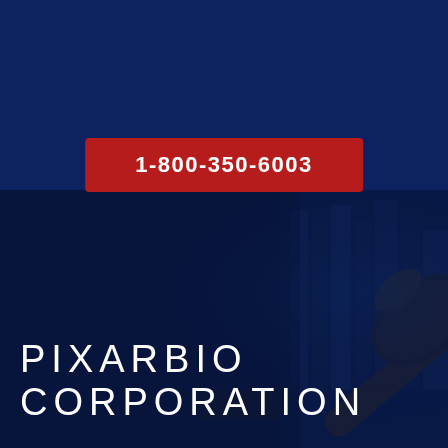[Figure (logo): Robbins LLP law firm logo with white bold text ROBBINS, decorative red lines, and LLP text]
1-800-350-6003
[Figure (photo): Dark blue-tinted background photo showing a wooden gavel with blurred legal books in the background]
PIXARBIO CORPORATION